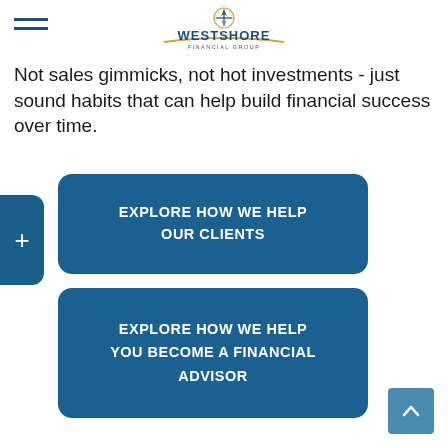[Figure (logo): Westshore Financial Group logo with compass icon and text]
Not sales gimmicks, not hot investments - just sound habits that can help build financial success over time.
EXPLORE HOW WE HELP OUR CLIENTS
EXPLORE HOW WE HELP YOU BECOME A FINANCIAL ADVISOR